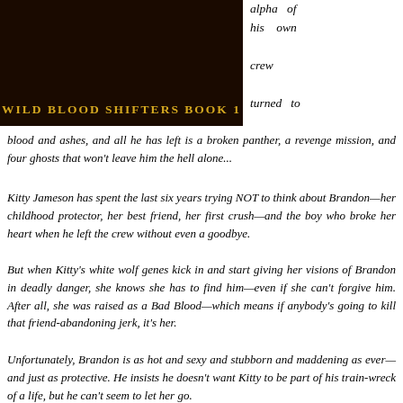[Figure (illustration): Book cover image for Wild Blood Shifters Book 1, dark background with golden/amber title text]
alpha of his own crew turned to blood and ashes, and all he has left is a broken panther, a revenge mission, and four ghosts that won't leave him the hell alone...
Kitty Jameson has spent the last six years trying NOT to think about Brandon—her childhood protector, her best friend, her first crush—and the boy who broke her heart when he left the crew without even a goodbye.
But when Kitty's white wolf genes kick in and start giving her visions of Brandon in deadly danger, she knows she has to find him—even if she can't forgive him. After all, she was raised as a Bad Blood—which means if anybody's going to kill that friend-abandoning jerk, it's her.
Unfortunately, Brandon is as hot and sexy and stubborn and maddening as ever—and just as protective. He insists he doesn't want Kitty to be part of his train-wreck of a life, but he can't seem to let her go.